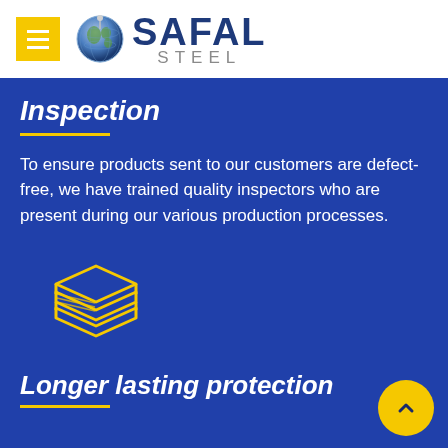[Figure (logo): Safal Steel logo with globe icon, yellow menu button, SAFAL in dark blue bold text, STEEL in gray below]
Inspection
To ensure products sent to our customers are defect-free, we have trained quality inspectors who are present during our various production processes.
[Figure (illustration): Yellow outline icon of stacked steel sheets/layers]
Longer lasting protection